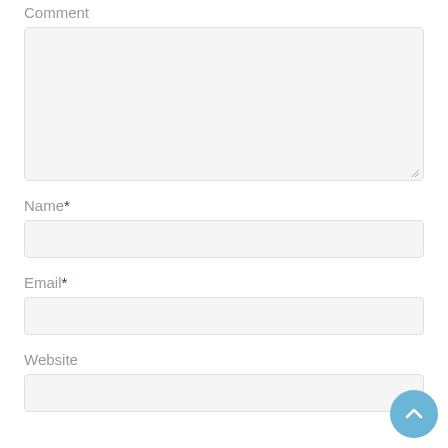Comment
[Figure (other): Comment textarea input box (empty, light gray background)]
Name*
[Figure (other): Name text input field (empty, light gray background)]
Email*
[Figure (other): Email text input field (empty, light gray background)]
Website
[Figure (other): Website text input field (empty, light gray background)]
[Figure (other): Scroll-to-top circular button with upward arrow, light blue]